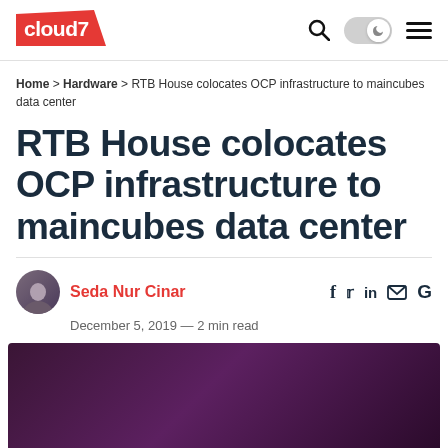cloud7 [logo] [search] [dark mode toggle] [menu]
Home > Hardware > RTB House colocates OCP infrastructure to maincubes data center
RTB House colocates OCP infrastructure to maincubes data center
Seda Nur Cinar
December 5, 2019 — 2 min read
[Figure (photo): Dark purple/maroon colored background image, likely a data center or server room photo]